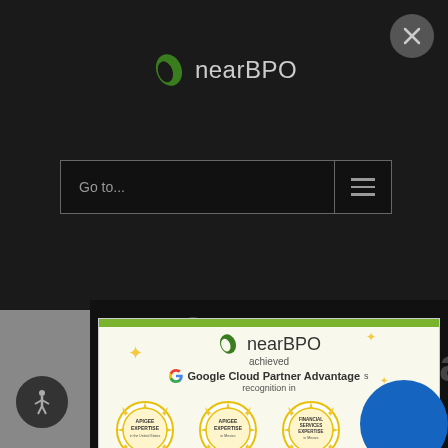[Figure (logo): nearBPO logo with green leaf icon and text 'nearBPO' on dark background header]
[Figure (screenshot): Navigation bar with 'Go to...' search field and hamburger menu icon on dark background]
performance. your availab benchmarks. team to happy. help.
[Figure (infographic): nearBPO popup card showing Google Cloud Partner Advantage recognition with badges: APIGEE EXPERTISE in the United States, APIGEE EXPERTISE in Mexico, FINANCIAL SERVICES EXPERTISE in Mexico, THE CLOUD NATIVE APPLICATION DEVELOPMENT EXPERTISE]